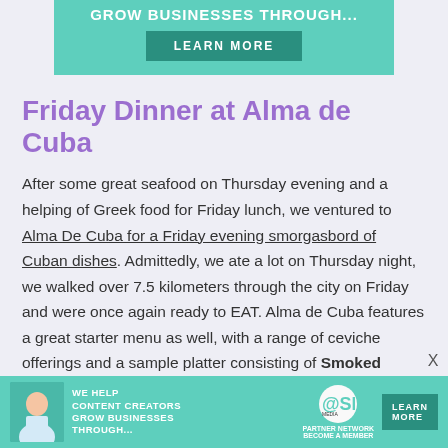[Figure (other): Advertisement banner with teal background showing 'GROW BUSINESSES THROUGH...' text and a 'LEARN MORE' button]
Friday Dinner at Alma de Cuba
After some great seafood on Thursday evening and a helping of Greek food for Friday lunch, we ventured to Alma De Cuba for a Friday evening smorgasbord of Cuban dishes. Admittedly, we ate a lot on Thursday night, we walked over 7.5 kilometers through the city on Friday and were once again ready to EAT. Alma de Cuba features a great starter menu as well, with a range of ceviche offerings and a sample platter consisting of Smoked Marlin Tacos, Royal Plum Dates, and Crab Empanadas
Yes, Yes, and Yes. The tacos were particularly tasty.
[Figure (other): SHE Partner Network advertisement banner at bottom with photo, text 'WE HELP CONTENT CREATORS GROW BUSINESSES THROUGH...', SHE logo, and LEARN MORE button]